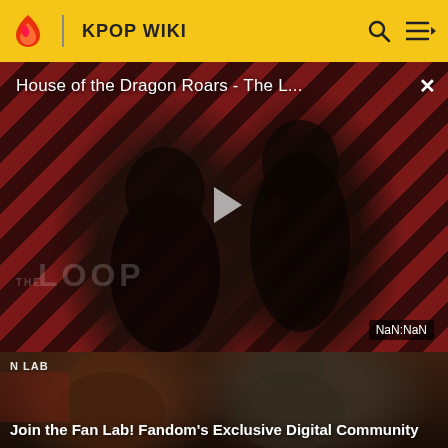KPOP WIKI
[Figure (screenshot): Fandom video player showing 'House of the Dragon Roars - The L...' with diagonal striped background, two dark figures, play button in center, THE LOOP branding, and NaN:NaN timestamp]
[Figure (photo): Promotional banner for 'Join the Fan Lab! Fandom's Exclusive Digital Community' showing two people with 'N LAB' text overlay]